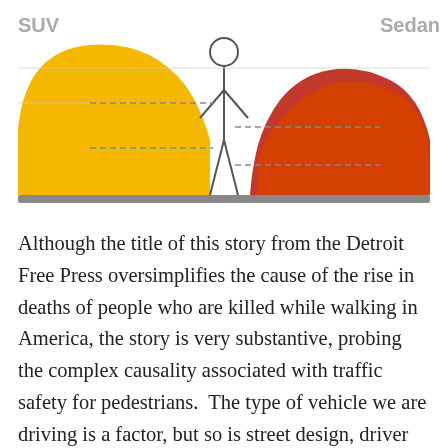[Figure (infographic): Comparison diagram of SUV vs Sedan impact zones on a pedestrian. SUV (left, orange/yellow) shows a higher hood profile with dashed lines indicating impact height at chest/pelvis level. Sedan (right, dark red) shows a lower profile with dashed lines at lower impact heights. A human silhouette stands in the center. A gray ground line runs across the bottom.]
Although the title of this story from the Detroit Free Press oversimplifies the cause of the rise in deaths of people who are killed while walking in America, the story is very substantive, probing the complex causality associated with traffic safety for pedestrians.  The type of vehicle we are driving is a factor, but so is street design, driver awareness, driver training, vehicle mass and speed, and traffic culture.  One factor the article doesn't address is exposure.  We don't know how much people are